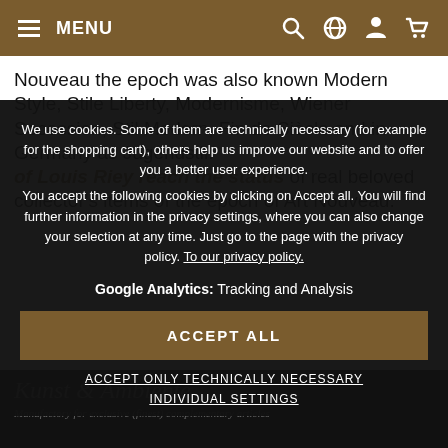MENU
Nouveau the epoch was also known Modern Style, Stile Liberty, Modernisme, Wiener Secession, Stil Modern, Fin de Siècle and in Germany as Jugendstil.
of Louis Riey reach the status of real beloved collector's items of the epoch of Art Nouveau.
We use cookies. Some of them are technically necessary (for example for the shopping cart), others help us improve our website and to offer you a better user experience.
You accept the following cookies by clicking on Accept all. You will find further information in the privacy settings, where you can also change your selection at any time. Just go to the page with the privacy policy. To our privacy policy.
Google Analytics: Tracking and Analysis
ACCEPT ALL
ACCEPT ONLY TECHNICALLY NECESSARY
INDIVIDUAL SETTINGS
Kunst & Ambiente
Manufactory for exclusive (finest) complementary articles